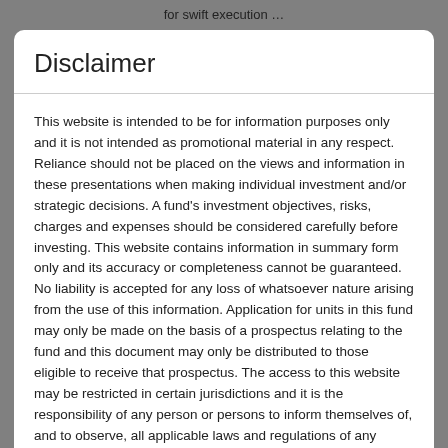for swift execution …
Disclaimer
This website is intended to be for information purposes only and it is not intended as promotional material in any respect. Reliance should not be placed on the views and information in these presentations when making individual investment and/or strategic decisions. A fund's investment objectives, risks, charges and expenses should be considered carefully before investing. This website contains information in summary form only and its accuracy or completeness cannot be guaranteed. No liability is accepted for any loss of whatsoever nature arising from the use of this information. Application for units in this fund may only be made on the basis of a prospectus relating to the fund and this document may only be distributed to those eligible to receive that prospectus. The access to this website may be restricted in certain jurisdictions and it is the responsibility of any person or persons to inform themselves of, and to observe, all applicable laws and regulations of any relevant jurisdictions. The prospectus contains this and other important information about the Fund. To obtain a prospectus free of charge, call